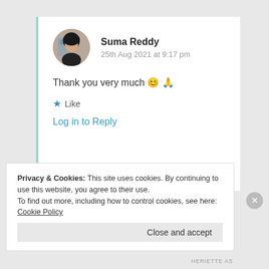Suma Reddy
25th Aug 2021 at 9:17 pm
Thank you very much 😊 🙏
★ Like
Log in to Reply
Privacy & Cookies: This site uses cookies. By continuing to use this website, you agree to their use.
To find out more, including how to control cookies, see here: Cookie Policy
Close and accept